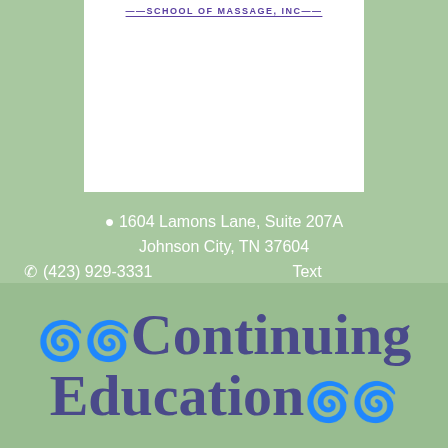[Figure (logo): School of Massage Inc logo text at top of white box]
1604 Lamons Lane, Suite 207A
Johnson City, TN 37604
☎ (423) 929-3331   Text
(423) 342-4532
🖨 (423) 929-9638
✉ info@reflectionsofhealth.com
Continuing Education